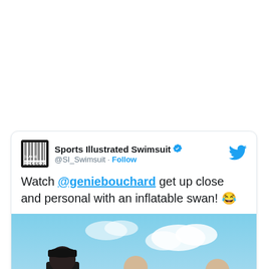[Figure (screenshot): A Twitter/X embedded tweet card from @SI_Swimsuit (Sports Illustrated Swimsuit) with verified badge. Text reads: 'Watch @geniebouchard get up close and personal with an inflatable swan! 😂'. Below the text is a video thumbnail showing people outdoors with a 'Watch on Twitter' button. A Twitter bird logo appears in the top right of the card.]